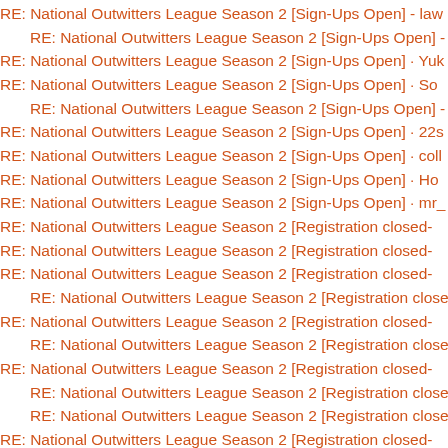RE: National Outwitters League Season 2 [Sign-Ups Open] - law
RE: National Outwitters League Season 2 [Sign-Ups Open] - r
RE: National Outwitters League Season 2 [Sign-Ups Open] - Yuk
RE: National Outwitters League Season 2 [Sign-Ups Open] - So
RE: National Outwitters League Season 2 [Sign-Ups Open] - r
RE: National Outwitters League Season 2 [Sign-Ups Open] - 22s
RE: National Outwitters League Season 2 [Sign-Ups Open] - coll
RE: National Outwitters League Season 2 [Sign-Ups Open] - Ho
RE: National Outwitters League Season 2 [Sign-Ups Open] - mr_
RE: National Outwitters League Season 2 [Registration closed-
RE: National Outwitters League Season 2 [Registration closed-
RE: National Outwitters League Season 2 [Registration closed-
RE: National Outwitters League Season 2 [Registration close
RE: National Outwitters League Season 2 [Registration closed-
RE: National Outwitters League Season 2 [Registration close
RE: National Outwitters League Season 2 [Registration closed-
RE: National Outwitters League Season 2 [Registration close
RE: National Outwitters League Season 2 [Registration close
RE: National Outwitters League Season 2 [Registration closed-
RE: National Outwitters League Season 2 [Registration closed-
RE: National Outwitters League Season 2 [Registration closed-